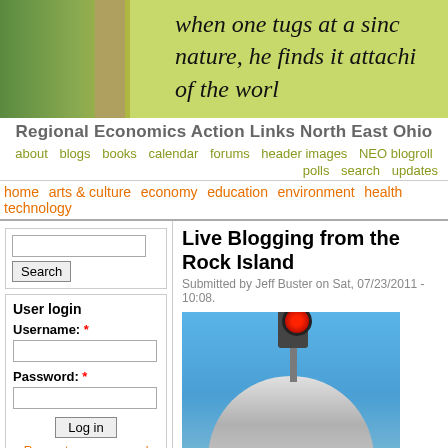[Figure (photo): Website header banner photo showing green outdoor scene with handwritten quote: 'when one tugs at a single strand of nature, he finds it attached to the rest of the world']
Regional Economics Action Links North East Ohio
about  blogs  books  calendar  forums  header images  NEO blogroll  polls  search  updates
home  arts & culture  economy  education  environment  health  technology
Search
User login
Username: *
Password: *
Log in
Request new password
Office of Citizen
Rest in Peace,
Live Blogging from the Rock Island
Submitted by Jeff Buster on Sat, 07/23/2011 - 10:08.
[Figure (photo): Photo of a train locomotive dome/top with signal lights against a blue sky]